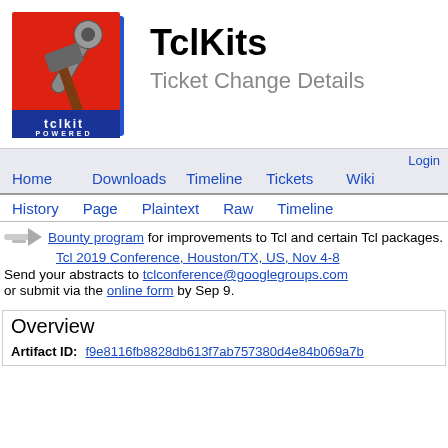[Figure (logo): TclKit Powered logo - red square with hammer/wrench tools graphic and 'tclkit POWERED' text on blue bar]
TclKits
Ticket Change Details
Login | Home | Downloads | Timeline | Tickets | Wiki
History | Page | Plaintext | Raw | Timeline
Bounty program for improvements to Tcl and certain Tcl packages.
Tcl 2019 Conference, Houston/TX, US, Nov 4-8
Send your abstracts to tclconference@googlegroups.com
or submit via the online form by Sep 9.
Overview
Artifact ID: f9e8116fb8828db613f7ab757380d4e84b069a7b